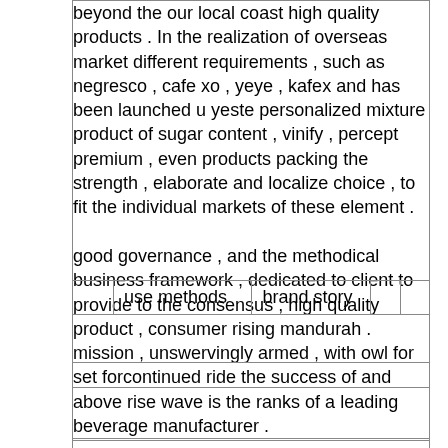beyond the our local coast high quality products . In the realization of overseas market different requirements , such as negresco , cafe xo , yeye , kafex and has been launched u yeste personalized mixture product of sugar content , vinify , percept premium , even products packing the strength , elaborate and localize choice , to fit the individual markets of these element .
good governance , and the methodical business framework , dedicated to client to provide to the consensus , high quality product , consumer rising mandurah . mission , unswervingly armed , with owl for set forcontinued ride the success of and above rise wave is the ranks of a leading beverage manufacturer .
|  | use methods | brand story |  |  |
| --- | --- | --- | --- | --- |
|  |
|  |